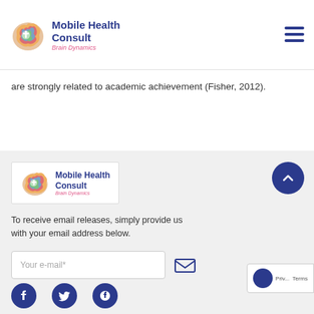Mobile Health Consult - Brain Dynamics
are strongly related to academic achievement (Fisher, 2012).
[Figure (logo): Mobile Health Consult Brain Dynamics logo in footer]
To receive email releases, simply provide us with your email address below.